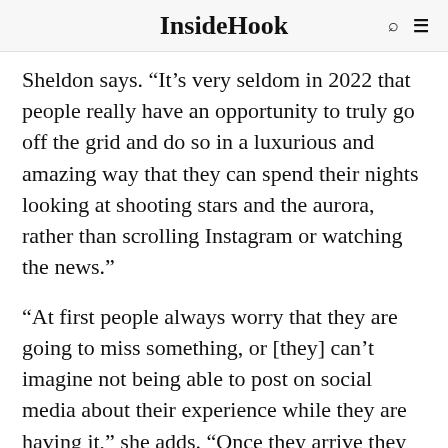InsideHook
Sheldon says. “It’s very seldom in 2022 that people really have an opportunity to truly go off the grid and do so in a luxurious and amazing way that they can spend their nights looking at shooting stars and the aurora, rather than scrolling Instagram or watching the news.”
“At first people always worry that they are going to miss something, or [they] can’t imagine not being able to post on social media about their experience while they are having it,” she adds. “Once they arrive they always love